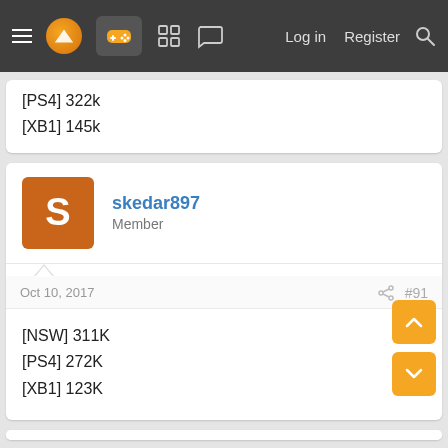Log in  Register
[PS4] 322k
[XB1] 145k
skedar897
Member
Oct 10, 2017   #91
[NSW] 311K
[PS4] 272K
[XB1] 123K
Welfare
Member
Oct 10, 2017   #92